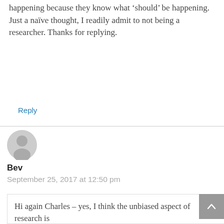happening because they know what 'should' be happening. Just a naïve thought, I readily admit to not being a researcher. Thanks for replying.
Reply
[Figure (illustration): Default user avatar icon — gray silhouette of a person in a circle]
Bev
September 25, 2017 at 12:50 pm
Hi again Charles – yes, I think the unbiased aspect of research is